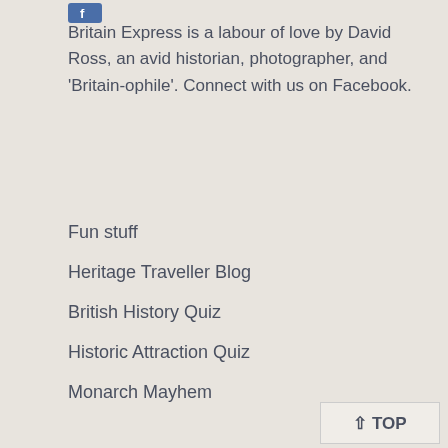[Figure (logo): Facebook icon button, small blue rectangle]
Britain Express is a labour of love by David Ross, an avid historian, photographer, and 'Britain-ophile'. Connect with us on Facebook.
Fun stuff
Heritage Traveller Blog
British History Quiz
Historic Attraction Quiz
Monarch Mayhem
This Day in British History
Useful stuff
Contact Us
Privacy
About Britain Express
[Figure (other): TOP button with upward chevron arrow]